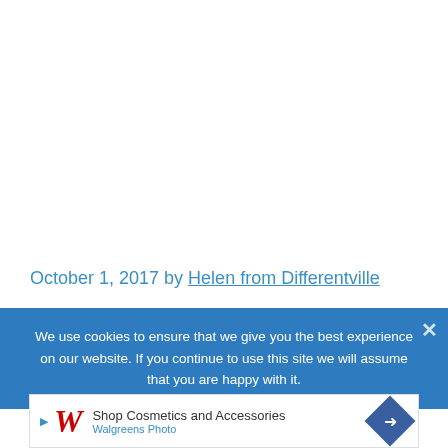October 1, 2017 by Helen from Differentville
We use cookies to ensure that we give you the best experience on our website. If you continue to use this site we will assume that you are happy with it.
[Figure (other): Walgreens Photo advertisement banner: Shop Cosmetics and Accessories, Walgreens Photo]